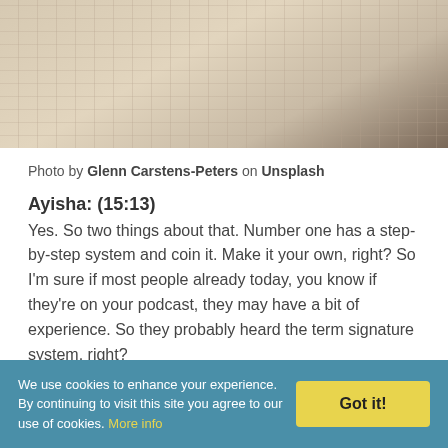[Figure (photo): Partial photo of a hand writing on a ruled/grid notebook, warm beige/brown tones, cropped at top of page]
Photo by Glenn Carstens-Peters on Unsplash
Ayisha: (15:13)
Yes. So two things about that. Number one has a step-by-step system and coin it. Make it your own, right? So I'm sure if most people already today, you know if they're on your podcast, they may have a bit of experience. So they probably heard the term signature system, right?
Oh, you want to make sure that you have a signature
We use cookies to enhance your experience. By continuing to visit this site you agree to our use of cookies. More info